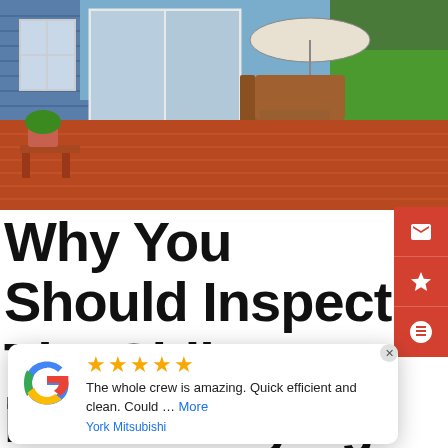[Figure (photo): Outdoor wooden deck with patio furniture and umbrella, attached to a blue-sided house, lush green lawn in background]
Why You Should Inspect The Siding Before Buying A Home
By Rick McAllister | January 21, 2022
[Figure (screenshot): Google review popup showing 5 gold stars, review text: 'The whole crew is amazing. Quick efficient and clean. Could ... More', reviewer: 'York Mitsubishi']